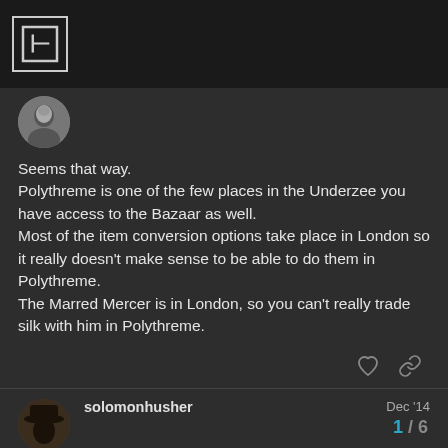Forum header logo
[Figure (photo): User avatar - grayscale portrait of a person in period dress]
Seems that way.
Polythreme is one of the few places in the Underzee you have access to the Bazaar as well.
Most of the item conversion options take place in London so it really doesn't make sense to be able to do them in Polythreme.
The Marred Mercer is in London, so you can't really trade silk with him in Polythreme.
solomonhusher   Dec '14
[Figure (photo): User avatar - dark silhouette of a figure wearing a hat]
Thaaaat makes a stupid amount of sense. Thanks!
1 / 6